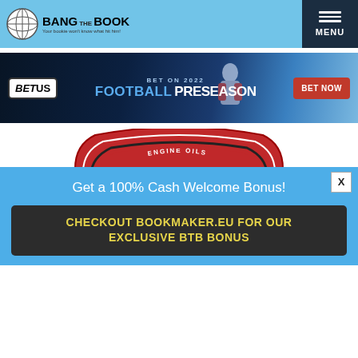[Figure (logo): Bang the Book logo with globe icon in header]
[Figure (logo): MENU button with hamburger icon in dark navy header area]
[Figure (infographic): BetUS advertisement banner: BET ON 2022 FOOTBALL PRESEASON with BET NOW button and football player image]
[Figure (logo): Drydene Engine Oils logo — red shield-shaped logo with bold DRYDENE text]
Get a 100% Cash Welcome Bonus!
CHECKOUT BOOKMAKER.EU FOR OUR EXCLUSIVE BTB BONUS